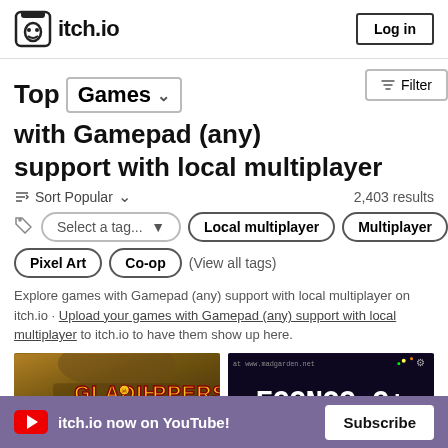itch.io  Log in
Top Games with Gamepad (any) support with local multiplayer
Sort Popular   2,403 results
Select a tag...  Local multiplayer  Multiplayer  Pixel Art  Co-op  (View all tags)
Explore games with Gamepad (any) support with local multiplayer on itch.io · Upload your games with Gamepad (any) support with local multiplayer to itch.io to have them show up here.
[Figure (screenshot): Gladihoppers game thumbnail]
[Figure (screenshot): Eggnog+ game thumbnail with www.madgarden.net text]
itch.io now on YouTube!  Subscribe